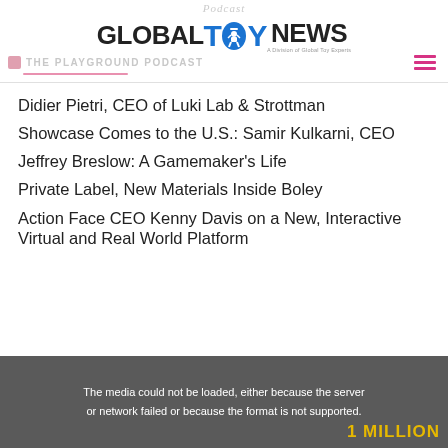Podcast GLOBAL TOY NEWS - A Division of Global Toy Experts
THE PLAYGROUND PODCAST
Didier Pietri, CEO of Luki Lab & Strottman
Showcase Comes to the U.S.: Samir Kulkarni, CEO
Jeffrey Breslow: A Gamemaker's Life
Private Label, New Materials Inside Boley
Action Face CEO Kenny Davis on a New, Interactive Virtual and Real World Platform
[Figure (screenshot): Media player error message in dark grey box: 'The media could not be loaded, either because the server or network failed or because the format is not supported.' Partially visible '1 MILLION' text in yellow at bottom right.]